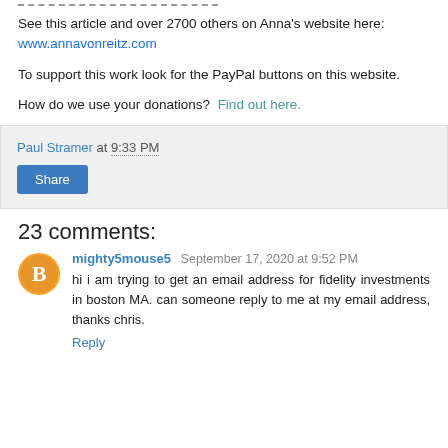See this article and over 2700 others on Anna's website here: www.annavonreitz.com
To support this work look for the PayPal buttons on this website.
How do we use your donations?  Find out here.
Paul Stramer at 9:33 PM
Share
23 comments:
mighty5mouse5  September 17, 2020 at 9:52 PM
hi i am trying to get an email address for fidelity investments in boston MA. can someone reply to me at my email address, thanks chris.
Reply